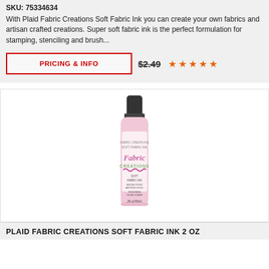SKU: 75334634
With Plaid Fabric Creations Soft Fabric Ink you can create your own fabrics and artisan crafted creations. Super soft fabric ink is the perfect formulation for stamping, stenciling and brush...
PRICING & INFO
$2.49
[Figure (photo): Pink bottle of Plaid Fabric Creations Soft Fabric Ink with black cap, 2 fl oz / 59 ml]
PLAID FABRIC CREATIONS SOFT FABRIC INK 2 OZ